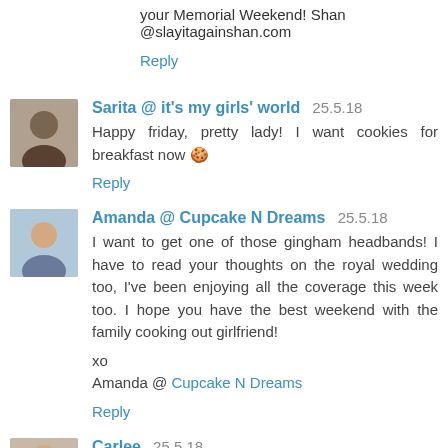your Memorial Weekend! Shan @slayitagainshan.com
Reply
Sarita @ it's my girls' world  25.5.18
Happy friday, pretty lady! I want cookies for breakfast now 🍪
Reply
Amanda @ Cupcake N Dreams  25.5.18
I want to get one of those gingham headbands! I have to read your thoughts on the royal wedding too, I've been enjoying all the coverage this week too. I hope you have the best weekend with the family cooking out girlfriend!
xo
Amanda @ Cupcake N Dreams
Reply
Carlee  25.5.18